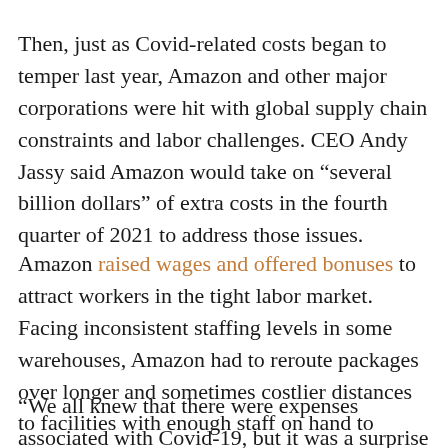Then, just as Covid-related costs began to temper last year, Amazon and other major corporations were hit with global supply chain constraints and labor challenges. CEO Andy Jassy said Amazon would take on “several billion dollars” of extra costs in the fourth quarter of 2021 to address those issues.
Amazon raised wages and offered bonuses to attract workers in the tight labor market. Facing inconsistent staffing levels in some warehouses, Amazon had to reroute packages over longer and sometimes costlier distances to facilities with enough staff on hand to process orders.
“We all knew that there were expenses associated with Covid-19, but it was a surprise to me when I realized